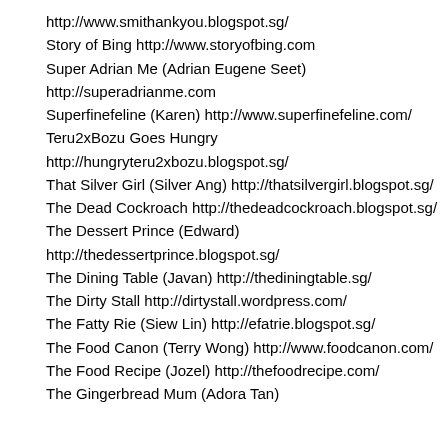http://www.smithankyou.blogspot.sg/
Story of Bing http://www.storyofbing.com
Super Adrian Me (Adrian Eugene Seet)
http://superadrianme.com
Superfinefeline (Karen) http://www.superfinefeline.com/
Teru2xBozu Goes Hungry
http://hungryteru2xbozu.blogspot.sg/
That Silver Girl (Silver Ang) http://thatsilvergirl.blogspot.sg/
The Dead Cockroach http://thedeadcockroach.blogspot.sg/
The Dessert Prince (Edward)
http://thedessertprince.blogspot.sg/
The Dining Table (Javan) http://thediningtable.sg/
The Dirty Stall http://dirtystall.wordpress.com/
The Fatty Rie (Siew Lin) http://efatrie.blogspot.sg/
The Food Canon (Terry Wong) http://www.foodcanon.com/
The Food Recipe (Jozel) http://thefoodrecipe.com/
The Gingerbread Mum (Adora Tan)